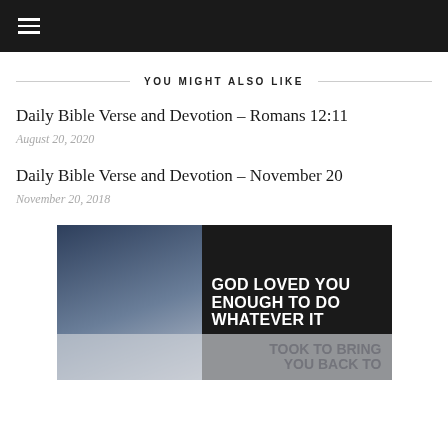≡
YOU MIGHT ALSO LIKE
Daily Bible Verse and Devotion – Romans 12:11
August 20, 2020
Daily Bible Verse and Devotion – November 20
November 20, 2018
[Figure (photo): Dark background image with bold white text reading 'GOD LOVED YOU ENOUGH TO DO WHATEVER IT TOOK TO BRING YOU BACK TO HIM' with a person in blue suit on the left side]